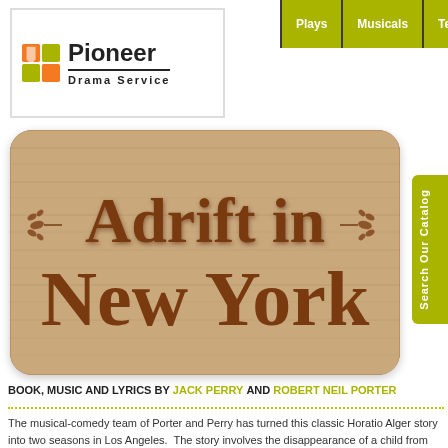[Figure (logo): Pioneer Drama Service logo with orange/green square icon and bold text]
Plays   Musicals   Texts
[Figure (illustration): Wooden sign with title 'Adrift in New York' in decorative western-style font with wood grain texture and decorative leaf motifs]
BOOK, MUSIC AND LYRICS BY JACK PERRY AND ROBERT NEIL PORTER
The musical-comedy team of Porter and Perry has turned this classic Horatio Alger story into two seasons in Los Angeles. The story involves the disappearance of a child from the house kidnapped by the villainous Curtis Waring, John Linden's nephew, who hopes to inherit the fa